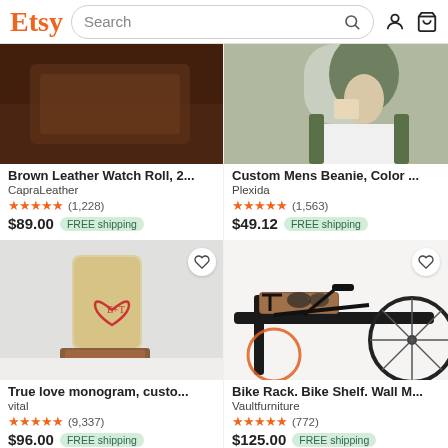Etsy | Search
[Figure (screenshot): Brown leather watch roll product photo, dark brown background]
Brown Leather Watch Roll, 2...
CapraLeather
★★★★★ (1,228)
$89.00 FREE shipping
[Figure (screenshot): Custom mens beanie worn by bearded man in olive jacket]
Custom Mens Beanie, Color ...
Plexida
★★★★★ (1,563)
$49.12 FREE shipping
[Figure (screenshot): True love monogram custom glass with heart design containing initials E+T, on wooden coaster]
True love monogram, custo...
vital
★★★★★ (9,337)
$96.00 FREE shipping
[Figure (screenshot): Bike rack wall mounted shelf with leather tray and bicycle leaning against wall]
Bike Rack. Bike Shelf. Wall M...
Vaultfurniture
★★★★★ (772)
$125.00 FREE shipping